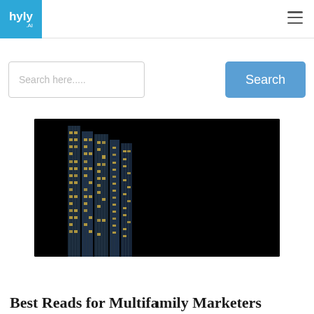hyly .AI
Search here.....
Search
[Figure (illustration): Dark photograph/illustration of a tall skyscraper at night with illuminated yellow windows against a black background]
Best Reads for Multifamily Marketers